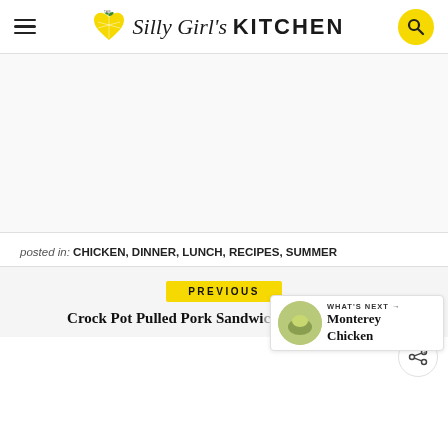This Silly Girl's KITCHEN
[Figure (other): Advertisement / blank content area]
posted in: CHICKEN, DINNER, LUNCH, RECIPES, SUMMER
35
PREVIOUS
Crock Pot Pulled Pork Sandwiches
WHAT'S NEXT → Monterey Chicken